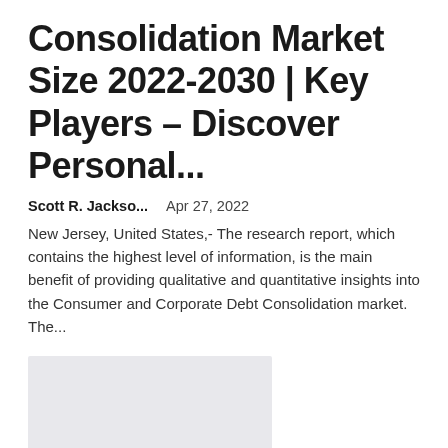Consolidation Market Size 2022-2030 | Key Players – Discover Personal...
Scott R. Jackso...    Apr 27, 2022
New Jersey, United States,- The research report, which contains the highest level of information, is the main benefit of providing qualitative and quantitative insights into the Consumer and Corporate Debt Consolidation market. The...
[Figure (photo): Placeholder image block, light grey rectangle]
How to Get a Debt